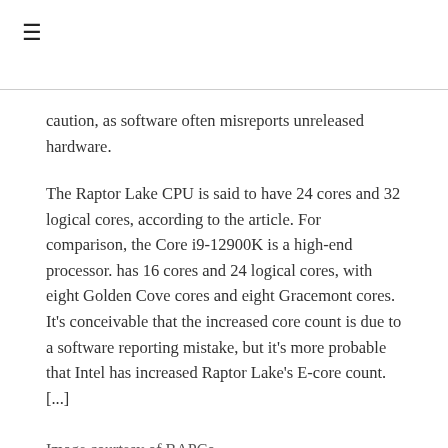≡
caution, as software often misreports unreleased hardware.
The Raptor Lake CPU is said to have 24 cores and 32 logical cores, according to the article. For comparison, the Core i9-12900K is a high-end processor. has 16 cores and 24 logical cores, with eight Golden Cove cores and eight Gracemont cores. It's conceivable that the increased core count is due to a software reporting mistake, but it's more probable that Intel has increased Raptor Lake's E-core count. [...]
Image courtesy of BAPCo